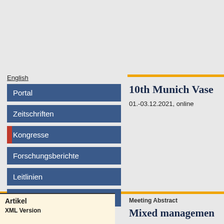English
Portal
Zeitschriften
Kongresse
Forschungsberichte
Leitlinien
Handbücher
10th Munich Vase
01.-03.12.2021, online
Artikel
XML Version
Meeting Abstract
Mixed managemen